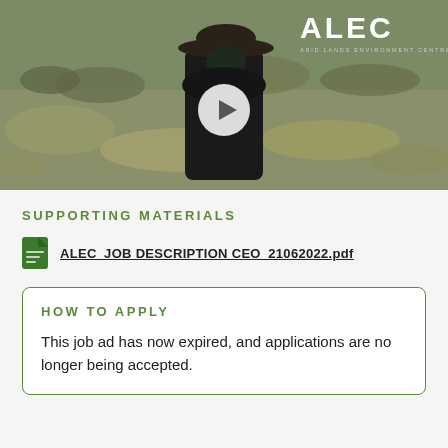[Figure (screenshot): Video thumbnail showing a person in a dark jacket and hat standing in an arid landscape with dry grasses. ALEC (Arid Lands Environment Centre) logo in top right corner with a play button overlay in the center.]
SUPPORTING MATERIALS
ALEC_JOB DESCRIPTION CEO_21062022.pdf
HOW TO APPLY
This job ad has now expired, and applications are no longer being accepted.